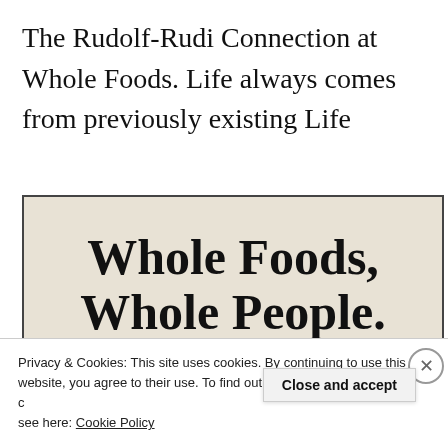The Rudolf-Rudi Connection at Whole Foods. Life always comes from previously existing Life
[Figure (photo): A vintage-style advertisement or editorial image with bold serif text reading 'Whole Foods, Whole People.' on a tan/cream background with a black border frame.]
Privacy & Cookies: This site uses cookies. By continuing to use this website, you agree to their use. To find out more, including how to control cookies, see here: Cookie Policy
Close and accept